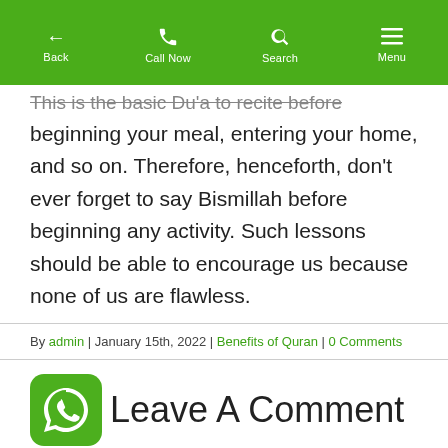Back | Call Now | Search | Menu
This is the basic Du'a to recite before beginning your meal, entering your home, and so on. Therefore, henceforth, don't ever forget to say Bismillah before beginning any activity. Such lessons should be able to encourage us because none of us are flawless.
By admin | January 15th, 2022 | Benefits of Quran | 0 Comments
Leave A Comment